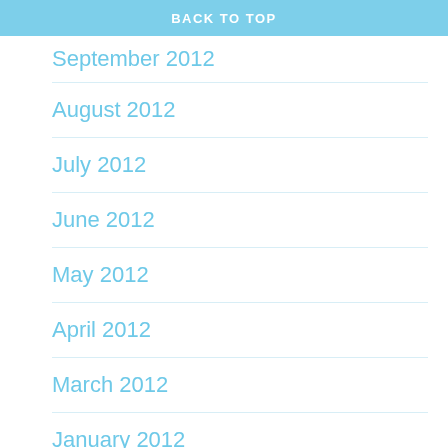BACK TO TOP
September 2012
August 2012
July 2012
June 2012
May 2012
April 2012
March 2012
January 2012
December 2011